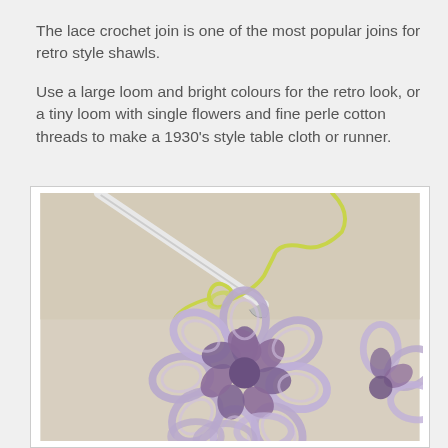The lace crochet join is one of the most popular joins for retro style shawls.
Use a large loom and bright colours for the retro look, or a tiny loom with single flowers and fine perle cotton threads to make a 1930's style table cloth or runner.
[Figure (photo): Close-up photograph of a purple/lavender loom-knitted flower with looped petals on a beige background, with a crochet hook and yellow-green yarn visible at the top being used to join the pieces with a lace crochet join.]